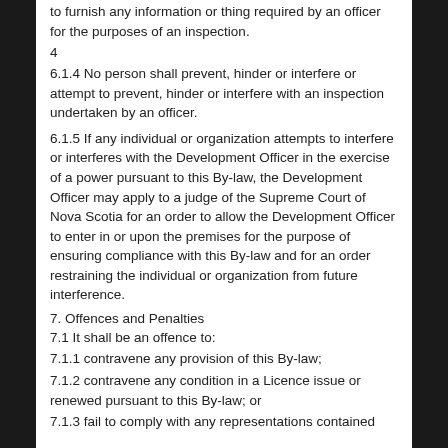to furnish any information or thing required by an officer for the purposes of an inspection.
4
6.1.4 No person shall prevent, hinder or interfere or attempt to prevent, hinder or interfere with an inspection undertaken by an officer.
6.1.5 If any individual or organization attempts to interfere or interferes with the Development Officer in the exercise of a power pursuant to this By-law, the Development Officer may apply to a judge of the Supreme Court of Nova Scotia for an order to allow the Development Officer to enter in or upon the premises for the purpose of ensuring compliance with this By-law and for an order restraining the individual or organization from future interference.
7. Offences and Penalties
7.1 It shall be an offence to:
7.1.1 contravene any provision of this By-law;
7.1.2 contravene any condition in a Licence issue or renewed pursuant to this By-law; or
7.1.3 fail to comply with any representations contained